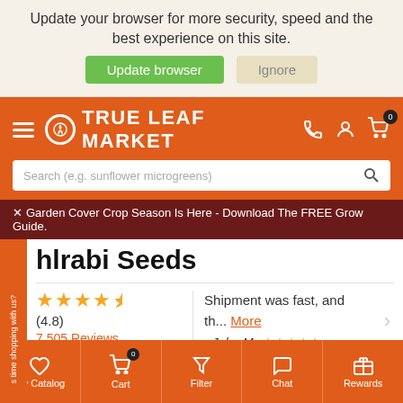Your web browser (iOS 11) is out of date. Update your browser for more security, speed and the best experience on this site.
Update browser | Ignore
[Figure (screenshot): True Leaf Market navigation bar with hamburger menu, logo, search bar, phone icon, account icon, and cart icon with badge 0]
Garden Cover Crop Season Is Here - Download The FREE Grow Guide.
hlrabi Seeds
★★★★☆ (4.8) 7,505 Reviews
Shipment was fast, and th... More - John M. ★★★★★
My Catalog | Cart 0 | Filter | Chat | Rewards